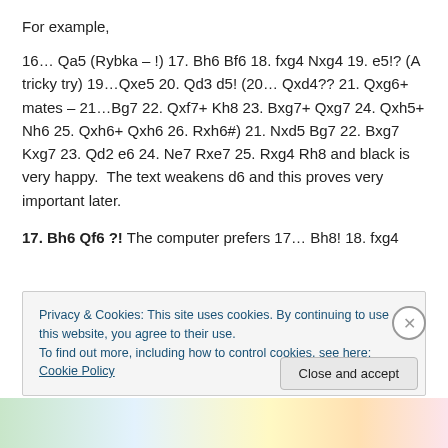For example,
16… Qa5 (Rybka – !) 17. Bh6 Bf6 18. fxg4 Nxg4 19. e5!? (A tricky try) 19…Qxe5 20. Qd3 d5! (20… Qxd4?? 21. Qxg6+ mates – 21…Bg7 22. Qxf7+ Kh8 23. Bxg7+ Qxg7 24. Qxh5+ Nh6 25. Qxh6+ Qxh6 26. Rxh6#) 21. Nxd5 Bg7 22. Bxg7 Kxg7 23. Qd2 e6 24. Ne7 Rxe7 25. Rxg4 Rh8 and black is very happy.  The text weakens d6 and this proves very important later.
17. Bh6 Qf6 ?! The computer prefers 17… Bh8! 18. fxg4
Privacy & Cookies: This site uses cookies. By continuing to use this website, you agree to their use.
To find out more, including how to control cookies, see here: Cookie Policy